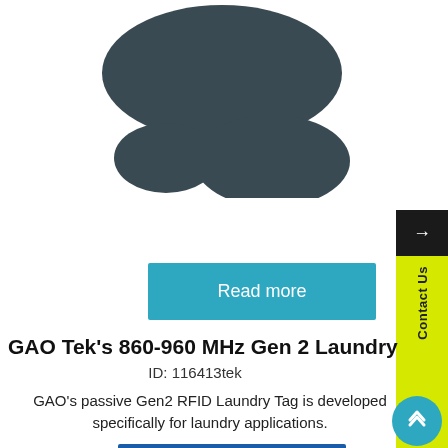[Figure (photo): Three dark gray/charcoal oval RFID laundry tags of different sizes on white background]
Read more
GAO Tek's 860-960 MHz Gen 2 Laundry Tag
ID: 116413tek
GAO's passive Gen2 RFID Laundry Tag is developed specifically for laundry applications.
Add to quote